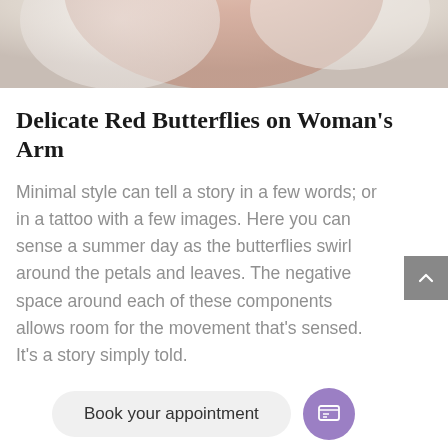[Figure (photo): Top portion of a photo showing a woman's arm/shoulder in a white lace dress or garment, soft skin tones with light background]
Delicate Red Butterflies on Woman's Arm
Minimal style can tell a story in a few words; or in a tattoo with a few images. Here you can sense a summer day as the butterflies swirl around the petals and leaves. The negative space around each of these components allows room for the movement that's sensed. It's a story simply told.
Book your appointment